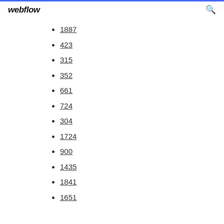webflow
1887
423
315
352
661
724
304
1724
900
1435
1841
1651